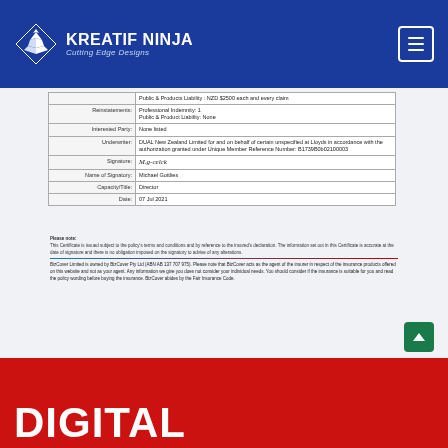[Figure (logo): Kreatif Ninja logo with white diamond/ninja star icon, company name and tagline on blue background header with hamburger menu button]
| Field | Value |
| --- | --- |
|  | Public & Products Liability: NZD $2500 each and every claim |
| Reinstatements: | Professional Indemnity: 1
Public & Product Liability: None |
| Interested Party: | None listed |
| Underwriter: | DUAL New Zealand Limited for and on behalf of certain unspecified at Lloyds in accordance with the authorization granted under Unique Member Reference Number: B1739B0b02100003 |
| Signature: | [signature] |
| Name of Signatory: | Michael Gottlies |
| Capacity/Title: | Director |
| Date: | 07 Jul 2021 |
Please note: This Certificate is issued subject to the policy's terms and conditions and by reference to the insured's declaration. The information set out in this Certificate is accurate at the date of signature and there is no obligation imposed on the signatory to advise of any alterations.
BizCover Limited is owned by BizCover Pty Ltd (ABN AB 137 707 975). Please note that BizCover acts as the agent of the insurer in respect of the insurance products offered on this website and not as your agent. Any information we give you does not consider your individual needs. You should consider if the insurance is suitable for you and read the policy wording before buying the insurance. BizCover abides by the Fair Insurance Code.
DIGITAL